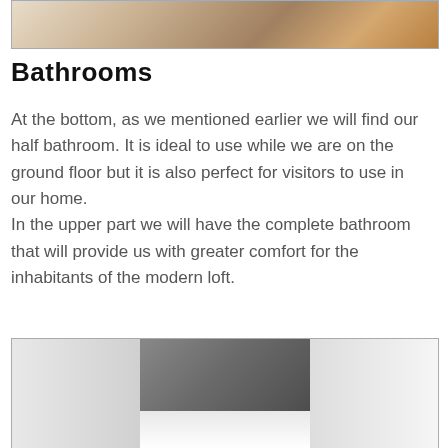[Figure (photo): Partial view of a living room interior with a rug and wooden furniture, cropped at top of page]
Bathrooms
At the bottom, as we mentioned earlier we will find our half bathroom. It is ideal to use while we are on the ground floor but it is also perfect for visitors to use in our home.
In the upper part we will have the complete bathroom that will provide us with greater comfort for the inhabitants of the modern loft.
[Figure (photo): Interior photo of a modern bathroom with patterned grey tile walls, a white vanity, and toilet visible]